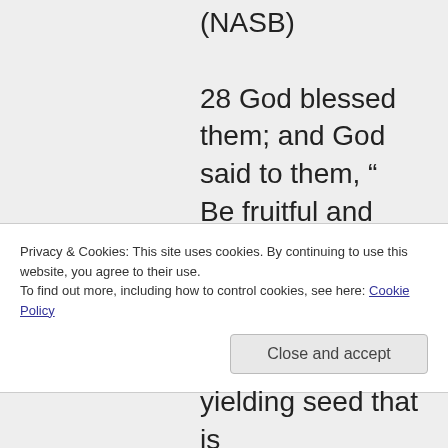(NASB)
28 God blessed them; and God said to them, “ Be fruitful and multiply, and fill the earth, and subdue it; and rule over the fish of the sea and over the birds of the [a]sky and over every living
Privacy & Cookies: This site uses cookies. By continuing to use this website, you agree to their use.
To find out more, including how to control cookies, see here: Cookie Policy
Close and accept
yielding seed that is